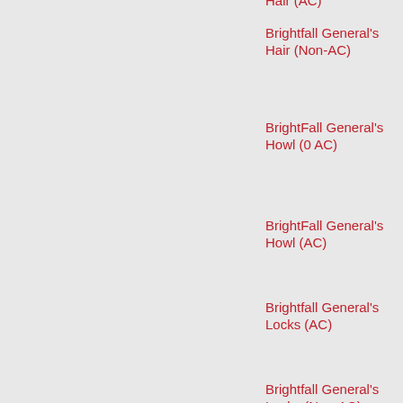Hair (AC)
Brightfall General's Hair (Non-AC)
BrightFall General's Howl (0 AC)
BrightFall General's Howl (AC)
Brightfall General's Locks (AC)
Brightfall General's Locks (Non-AC)
BrightFall General's Snarl (0 AC)
BrightFall General's Snarl (AC)
Brightfall General's Wolf (0 AC)
Brightfall General's Wolf (AC)
Brightfall